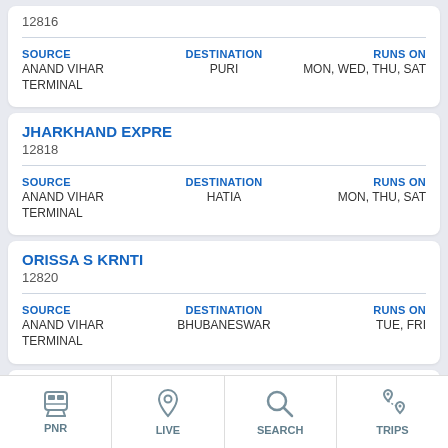12816
SOURCE: ANAND VIHAR TERMINAL | DESTINATION: PURI | RUNS ON: MON, WED, THU, SAT
JHARKHAND EXPRE
12818
SOURCE: ANAND VIHAR TERMINAL | DESTINATION: HATIA | RUNS ON: MON, THU, SAT
ORISSA S KRNTI
12820
SOURCE: ANAND VIHAR TERMINAL | DESTINATION: BHUBANESWAR | RUNS ON: TUE, FRI
JHRKHND S KRNTI
12826
SOURCE: ANAND VIHAR TERMINAL | DESTINATION: RANCHI | RUNS ON: ...
PNR | LIVE | SEARCH | TRIPS